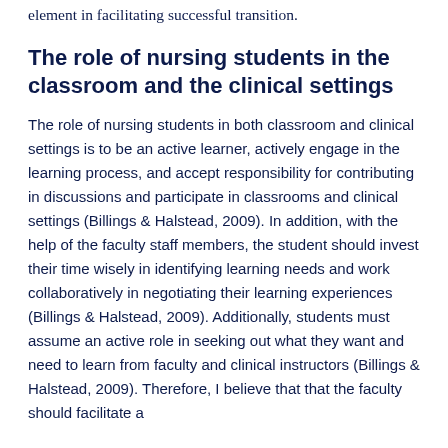element in facilitating successful transition.
The role of nursing students in the classroom and the clinical settings
The role of nursing students in both classroom and clinical settings is to be an active learner, actively engage in the learning process, and accept responsibility for contributing in discussions and participate in classrooms and clinical settings (Billings & Halstead, 2009). In addition, with the help of the faculty staff members, the student should invest their time wisely in identifying learning needs and work collaboratively in negotiating their learning experiences (Billings & Halstead, 2009). Additionally, students must assume an active role in seeking out what they want and need to learn from faculty and clinical instructors (Billings & Halstead, 2009). Therefore, I believe that that the faculty should facilitate a